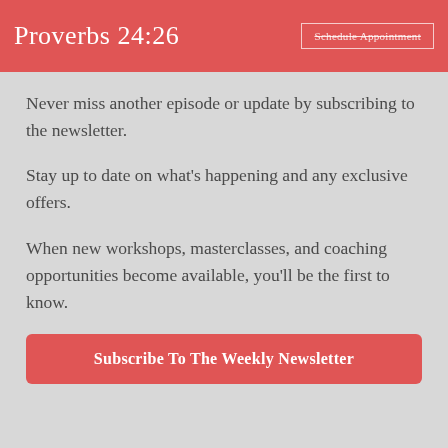Proverbs 24:26
Never miss another episode or update by subscribing to the newsletter.
Stay up to date on what's happening and any exclusive offers.
When new workshops, masterclasses, and coaching opportunities become available, you'll be the first to know.
Subscribe To The Weekly Newsletter